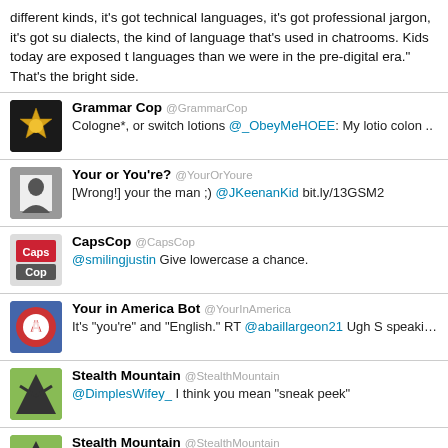different kinds, it's got technical languages, it's got professional jargon, it's got su dialects, the kind of language that's used in chatrooms. Kids today are exposed to more languages than we were in the pre-digital era." That's the bright side.
[Figure (screenshot): Screenshot of Twitter feed showing tweets from Grammar Cop, Your or You're?, CapsCop, Your in America Bot, Stealth Mountain (x3) — accounts that correct grammar on Twitter.]